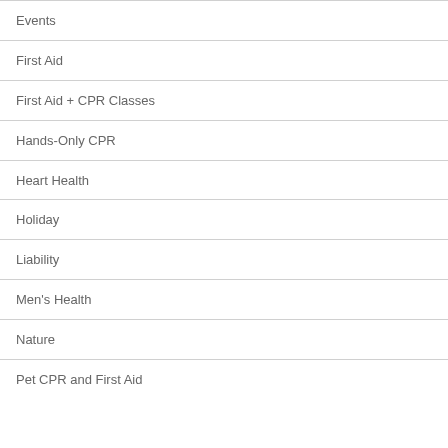Events
First Aid
First Aid + CPR Classes
Hands-Only CPR
Heart Health
Holiday
Liability
Men's Health
Nature
Pet CPR and First Aid